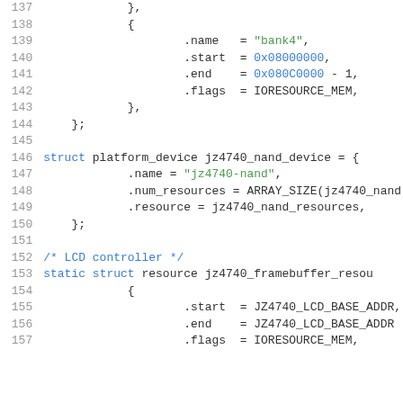Source code listing, lines 137-157, C code for embedded platform device configuration including NAND and framebuffer resources.